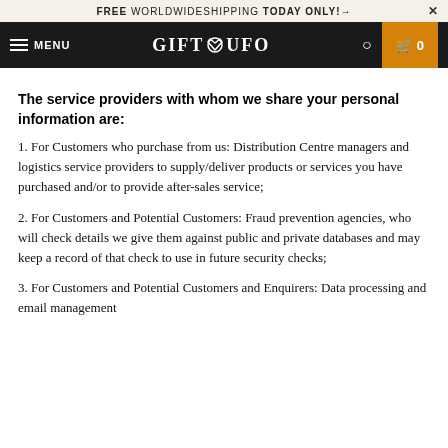FREE WORLDWIDESHIPPING TODAY ONLY!+
[Figure (logo): GIFT UFO navigation bar with hamburger menu, logo with heart icon, search icon, and cart button]
The service providers with whom we share your personal information are:
1. For Customers who purchase from us: Distribution Centre managers and logistics service providers to supply/deliver products or services you have purchased and/or to provide after-sales service;
2. For Customers and Potential Customers: Fraud prevention agencies, who will check details we give them against public and private databases and may keep a record of that check to use in future security checks;
3. For Customers and Potential Customers and Enquirers: Data processing and email management